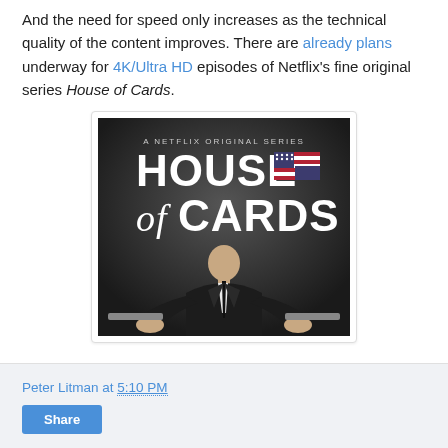And the need for speed only increases as the technical quality of the content improves. There are already plans underway for 4K/Ultra HD episodes of Netflix's fine original series House of Cards.
[Figure (photo): House of Cards Netflix original series promotional poster showing a man in a suit seated on a throne-like chair with the text 'A NETFLIX ORIGINAL SERIES HOUSE of CARDS' and a US flag graphic.]
Peter Litman at 5:10 PM
Share